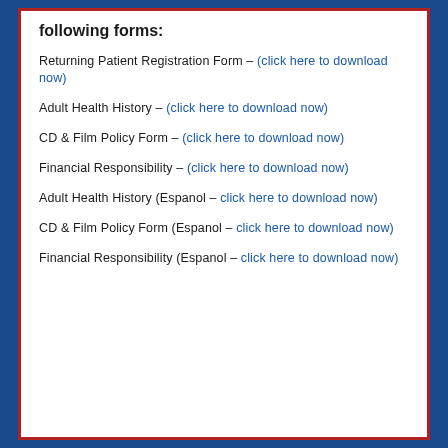following forms:
Returning Patient Registration Form – (click here to download now)
Adult Health History – (click here to download now)
CD & Film Policy Form – (click here to download now)
Financial Responsibility – (click here to download now)
Adult Health History (Espanol – click here to download now)
CD & Film Policy Form (Espanol – click here to download now)
Financial Responsibility (Espanol – click here to download now)